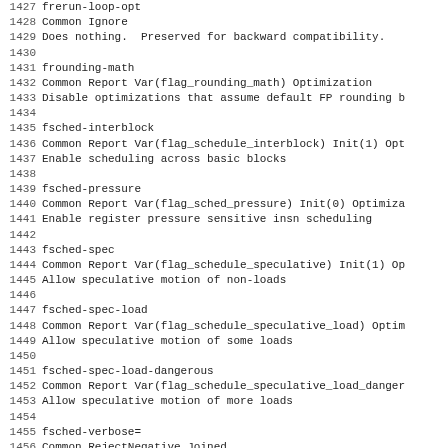1427 frerun-loop-opt
1428 Common Ignore
1429 Does nothing.  Preserved for backward compatibility.
1430
1431 frounding-math
1432 Common Report Var(flag_rounding_math) Optimization
1433 Disable optimizations that assume default FP rounding b
1434
1435 fsched-interblock
1436 Common Report Var(flag_schedule_interblock) Init(1) Opt
1437 Enable scheduling across basic blocks
1438
1439 fsched-pressure
1440 Common Report Var(flag_sched_pressure) Init(0) Optimiza
1441 Enable register pressure sensitive insn scheduling
1442
1443 fsched-spec
1444 Common Report Var(flag_schedule_speculative) Init(1) Op
1445 Allow speculative motion of non-loads
1446
1447 fsched-spec-load
1448 Common Report Var(flag_schedule_speculative_load) Optim
1449 Allow speculative motion of some loads
1450
1451 fsched-spec-load-dangerous
1452 Common Report Var(flag_schedule_speculative_load_danger
1453 Allow speculative motion of more loads
1454
1455 fsched-verbose=
1456 Common RejectNegative Joined
1457 -fsched-verbose=<number>      Set the verbosity level
1458